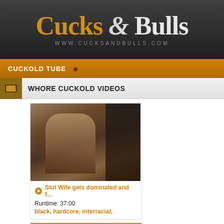[Figure (logo): Cucks & Bulls website logo with golden and white serif text on dark background, URL www.cucksandbulls.com below]
CUCKOLD TUBE
WHORE CUCKOLD VIDEOS
[Figure (screenshot): Video thumbnail showing a woman with long hair in lingerie in a kitchen setting]
Slut Wife gets dominated and f...
Runtime: 37:00
black, hardcore, interracial,
[Figure (screenshot): Partially visible second video thumbnail at bottom of page]